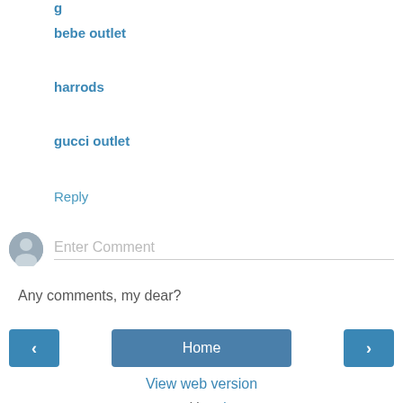bebe outlet
harrods
gucci outlet
Reply
[Figure (other): Comment input area with avatar icon and Enter Comment placeholder]
Any comments, my dear?
Home | View web version | Powered by Blogger.